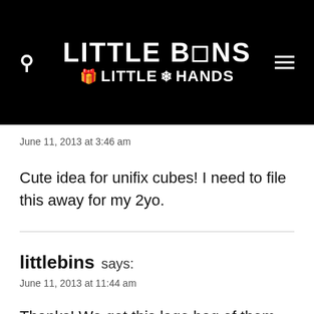LITTLE BINS LITTLE HANDS
June 11, 2013 at 3:46 am
Cute idea for unifix cubes! I need to file this away for my 2yo.
littlebins says:
June 11, 2013 at 11:44 am
Thanks! We got this lage bag of them used and well they really don't snap together with ease.